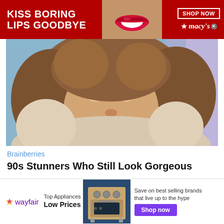[Figure (other): Macy's advertisement banner with red background. Left side shows bold white text 'KISS BORING LIPS GOODBYE'. Center shows a close-up of lips with red lipstick. Right side has a 'SHOP NOW' button in a white bordered box and the Macy's star logo with italic 'macy's' text.]
[Figure (photo): A smiling blonde woman with curly hair and blue eyes, wearing a fur-trimmed hood, photographed against a light blue background.]
Brainberries
90s Stunners Who Still Look Gorgeous
[Figure (other): Wayfair advertisement banner. Left side shows Wayfair logo with colorful star and purple 'wayfair' text. Text reads 'Top Appliances Low Prices'. Center shows a stainless steel kitchen range/oven. Right side reads 'Save on best selling brands that live up to the hype' with a purple 'Shop now' button.]